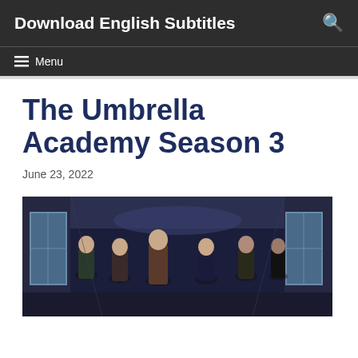Download English Subtitles
≡ Menu
The Umbrella Academy Season 3
June 23, 2022
[Figure (photo): Group of characters from The Umbrella Academy Season 3 standing in a hallway or corridor, dark moody lighting]